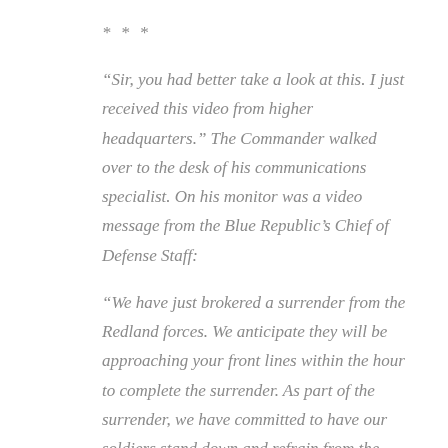* * *
“Sir, you had better take a look at this. I just received this video from higher headquarters.” The Commander walked over to the desk of his communications specialist. On his monitor was a video message from the Blue Republic’s Chief of Defense Staff:
“We have just brokered a surrender from the Redland forces. We anticipate they will be approaching your front lines within the hour to complete the surrender. As part of the surrender, we have committed to have our soldiers stand down and refrain from the